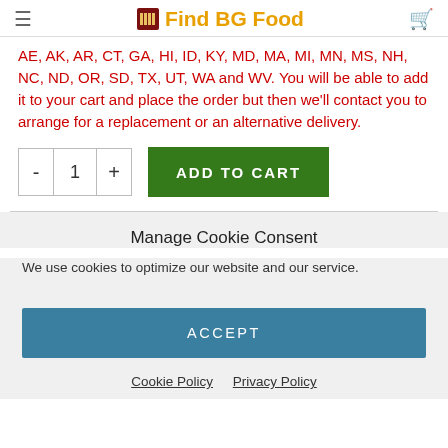Find BG Food
AE, AK, AR, CT, GA, HI, ID, KY, MD, MA, MI, MN, MS, NH, NC, ND, OR, SD, TX, UT, WA and WV. You will be able to add it to your cart and place the order but then we'll contact you to arrange for a replacement or an alternative delivery.
- 1 + ADD TO CART
Manage Cookie Consent
We use cookies to optimize our website and our service.
ACCEPT
Cookie Policy  Privacy Policy